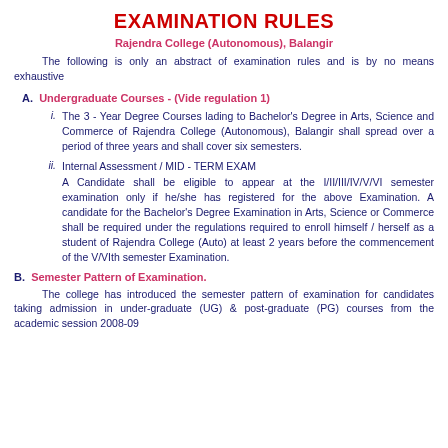EXAMINATION RULES
Rajendra College (Autonomous), Balangir
The following is only an abstract of examination rules and is by no means exhaustive
A.  Undergraduate Courses - (Vide regulation 1)
i.  The 3 - Year Degree Courses lading to Bachelor's Degree in Arts, Science and Commerce of Rajendra College (Autonomous), Balangir shall spread over a period of three years and shall cover six semesters.
ii.  Internal Assessment / MID - TERM EXAM  A Candidate shall be eligible to appear at the I/II/III/IV/V/VI semester examination only if he/she has registered for the above Examination. A candidate for the Bachelor's Degree Examination in Arts, Science or Commerce shall be required under the regulations required to enroll himself / herself as a student of Rajendra College (Auto) at least 2 years before the commencement of the V/VIth semester Examination.
B.  Semester Pattern of Examination.
The college has introduced the semester pattern of examination for candidates taking admission in under-graduate (UG) & post-graduate (PG) courses from the academic session 2008-09